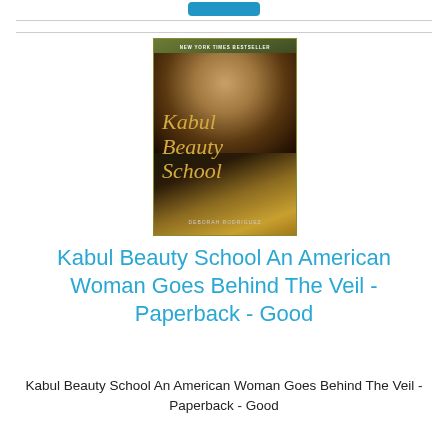[Figure (photo): Book cover of 'Kabul Beauty School' showing a woman's face partially veiled with dark background and yellow-green border. Text reads 'NEW YORK TIMES BESTSELLER' at top and 'Kabul Beauty School' in stylized script. Author name 'DEBORAH RODRIGUEZ' at bottom.]
Kabul Beauty School An American Woman Goes Behind The Veil - Paperback - Good
Kabul Beauty School An American Woman Goes Behind The Veil - Paperback - Good